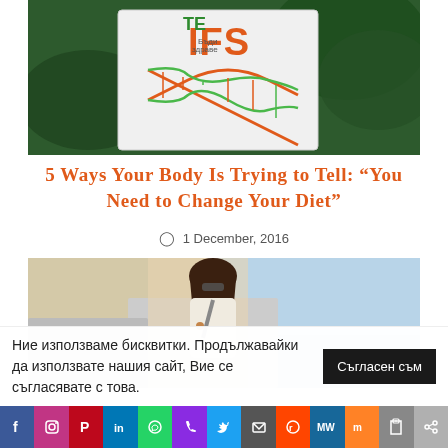[Figure (photo): Photo of a white bag with IFS logo featuring a DNA double helix in orange and green, surrounded by green leafy vegetables]
5 Ways Your Body Is Trying to Tell: “You Need to Change Your Diet”
○ 1 December, 2016
[Figure (photo): Photo of a young woman with long brown hair wearing a white blouse and bag, standing outside near vehicles with sea/sky in background]
Ние използваме бисквитки. Продължавайки да използвате нашия сайт, Вие се съгласявате с това.
Съгласен съм
[Figure (infographic): Social media sharing bar with icons: Facebook, Instagram, Pinterest, LinkedIn, WhatsApp, Phone, Twitter, Mail, Reddit, MW, Mix, Print, Share]